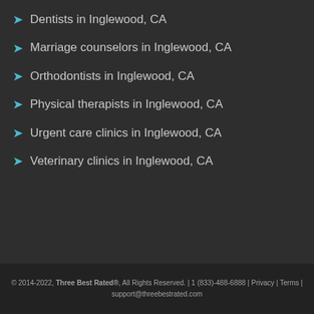Dentists in Inglewood, CA
Marriage counselors in Inglewood, CA
Orthodontists in Inglewood, CA
Physical therapists in Inglewood, CA
Urgent care clinics in Inglewood, CA
Veterinary clinics in Inglewood, CA
© 2014-2022, Three Best Rated®, All Rights Reserved. | 1 (833)-488-6888 | Privacy | Terms | support@threebestrated.com